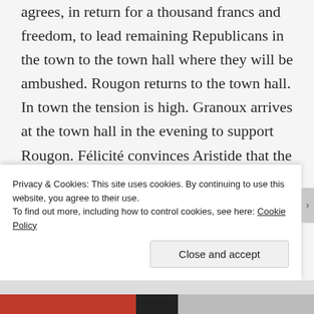agrees, in return for a thousand francs and freedom, to lead remaining Republicans in the town to the town hall where they will be ambushed. Rougon returns to the town hall. In town the tension is high. Granoux arrives at the town hall in the evening to support Rougon. Félicité convinces Aristide that the Republicans' cause is lost. Macquart hides out at his mother's house until the evening. He rounds up fellow republicans and marchs on the town hall where they are ambushed. The noise wakes up the town and many people think that the insurgents have
Privacy & Cookies: This site uses cookies. By continuing to use this website, you agree to their use.
To find out more, including how to control cookies, see here: Cookie Policy